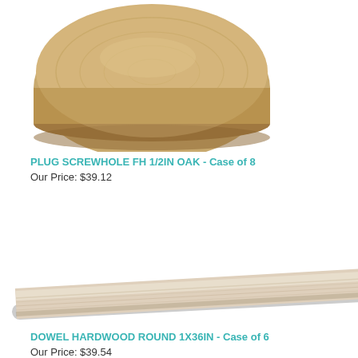[Figure (photo): Photo of a wooden screw hole plug, flat head, 1/2 inch oak, circular top view showing wood grain]
PLUG SCREWHOLE FH 1/2IN OAK - Case of 8
Our Price: $39.12
[Figure (photo): Photo of a hardwood round dowel, 1x36 inch, diagonal view showing cylindrical shape and light wood grain]
DOWEL HARDWOOD ROUND 1X36IN - Case of 6
Our Price: $39.54